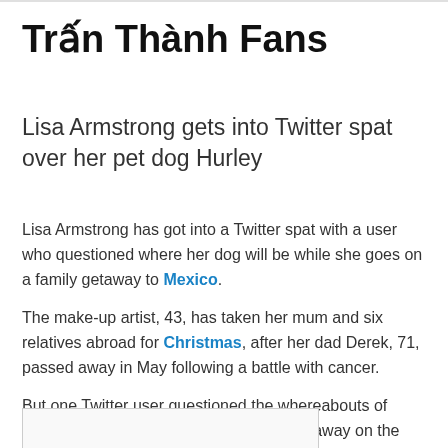Trấn Thành Fans
Lisa Armstrong gets into Twitter spat over her pet dog Hurley
Lisa Armstrong has got into a Twitter spat with a user who questioned where her dog will be while she goes on a family getaway to Mexico.
The make-up artist, 43, has taken her mum and six relatives abroad for Christmas, after her dad Derek, 71, passed away in May following a battle with cancer.
But one Twitter user questioned the whereabouts of Lisa's beloved pooch Hurley while she is away on the trip.
[Figure (other): Embedded content box at bottom of page]